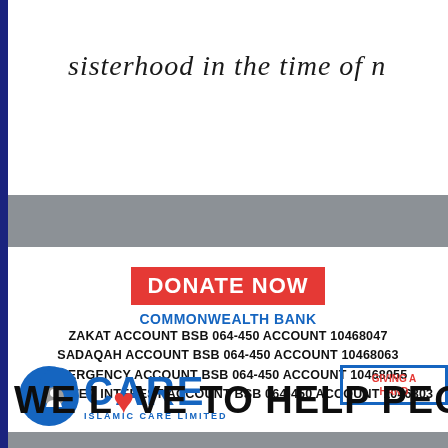sisterhood in the time of n
[Figure (infographic): Grey horizontal band separator]
DONATE NOW
COMMONWEALTH BANK
ZAKAT ACCOUNT BSB 064-450 ACCOUNT 10468047
SADAQAH ACCOUNT BSB 064-450 ACCOUNT 10468063
EMERGENCY ACCOUNT BSB 064-450 ACCOUNT 10468055
UNWANTED INTEREST ACCOUNT BSB 064-450 ACCOUNT 10468030
[Figure (logo): iCare Islamic Care Limited logo with crescent moon icon]
GIVING A HAND
WE LOVE TO HELP PEOPLE